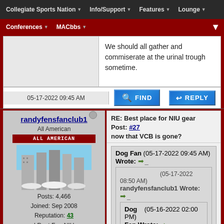Collegiate Sports Nation | Info/Support | Features | Lounge | Conferences | MACbbs
We should all gather and commiserate at the urinal trough sometime.
05-17-2022 09:45 AM
randyfensfanclub1
All American
Posts: 4,466
Joined: Sep 2008
Reputation: 43
I Root For: NIU
Location:
RE: Best place for NIU gear now that VCB is gone? Post: #27
Dog Fan (05-17-2022 09:45 AM) Wrote:
(05-17-2022 08:50 AM) randyfensfanclub1 Wrote:
Dog (05-16-2022 02:00 PM) Fan Wrote:
Is there still that little gift shop in the Barsema Alumni & Visitors Center? I have not been there for a few years. I